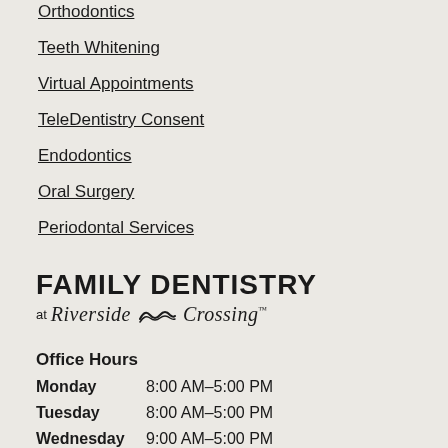Orthodontics
Teeth Whitening
Virtual Appointments
TeleDentistry Consent
Endodontics
Oral Surgery
Periodontal Services
[Figure (logo): Family Dentistry at Riverside Crossing logo with wave graphic between Riverside and Crossing]
Office Hours
Monday   8:00 AM–5:00 PM
Tuesday   8:00 AM–5:00 PM
Wednesday   9:00 AM–5:00 PM